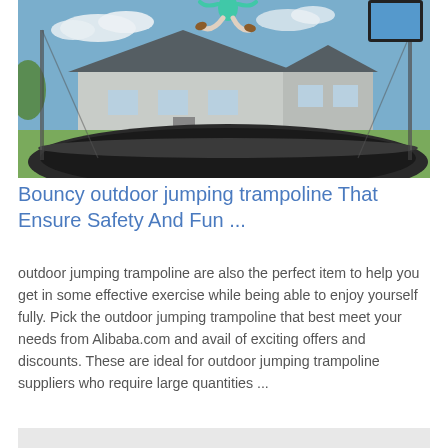[Figure (photo): Child jumping on an outdoor trampoline with safety enclosure net, house and green yard in background, blue sky with clouds]
Bouncy outdoor jumping trampoline That Ensure Safety And Fun ...
outdoor jumping trampoline are also the perfect item to help you get in some effective exercise while being able to enjoy yourself fully. Pick the outdoor jumping trampoline that best meet your needs from Alibaba.com and avail of exciting offers and discounts. These are ideal for outdoor jumping trampoline suppliers who require large quantities ...